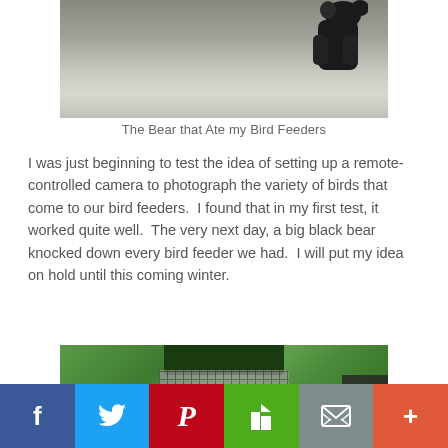[Figure (photo): Close-up photo of a black bear, partially visible, against a light gray background]
The Bear that Ate my Bird Feeders
I was just beginning to test the idea of setting up a remote-controlled camera to photograph the variety of birds that come to our bird feeders.  I found that in my first test, it worked quite well.  The very next day, a big black bear knocked down every bird feeder we had.  I will put my idea on hold until this coming winter.
[Figure (photo): Photo of a bird feeder with green foliage surrounding it, dark green top and mesh body]
[Figure (screenshot): Social media share bar with buttons for Facebook, Twitter, Pinterest, Houzz, Email, and More]